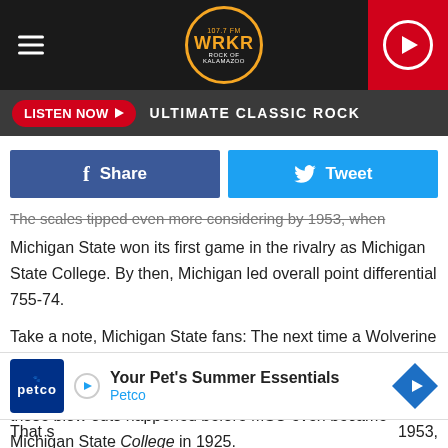[Figure (screenshot): WRKR radio station header with hamburger menu, circular logo, and red play button]
LISTEN NOW ▶  ULTIMATE CLASSIC ROCK
[Figure (screenshot): Facebook Share and Twitter Tweet buttons]
The scales tipped even more considering by 1953, when Michigan State won its first game in the rivalry as Michigan State College. By then, Michigan led overall point differential 755-74.
Take a note, Michigan State fans: The next time a Wolverine tries to give you any noise about the historical point differential, you can always take solace in the fact most of those blow outs happened before MSU even became Michigan State College in 1925.
[Figure (photo): Petco advertisement: Your Pet's Summer Essentials]
That s[...] 1953,